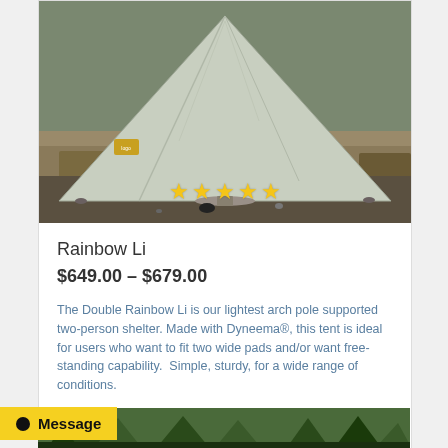[Figure (photo): A light gray/green tent photographed outdoors on rocky/grassy terrain. The tent has a triangular arch pole supported design. Five yellow star ratings are overlaid at the bottom of the image.]
Rainbow Li
$649.00 – $679.00
The Double Rainbow Li is our lightest arch pole supported two-person shelter. Made with Dyneema®, this tent is ideal for users who want to fit two wide pads and/or want free-standing capability.  Simple, sturdy, for a wide range of conditions.
Select options
Message
[Figure (photo): Partial view of a forest/outdoor scene visible at the very bottom of the page.]